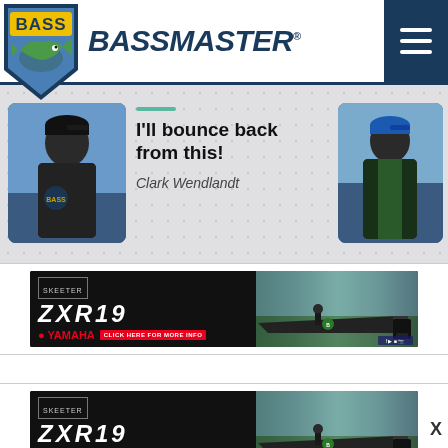BASSMASTER
[Figure (screenshot): Bassmaster website screenshot showing logo, navigation, article cards with Clark Wendlandt quote 'I'll bounce back from this!' and Yamaha ZXR19 boat advertisement banners]
I'll bounce back from this!
Clark Wendlandt
[Figure (photo): Yamaha ZXR19 boat advertisement banner with Skeeter logo, Yamaha logo, Click Here For More Info button]
[Figure (photo): Second Yamaha ZXR19 boat advertisement banner with close X button]